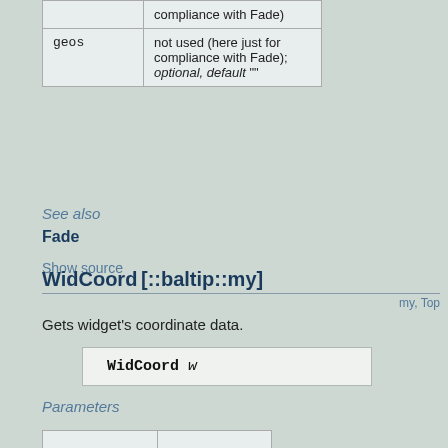|  |  |
| --- | --- |
|  | compliance with Fade) |
| geos | not used (here just for compliance with Fade); optional, default "" |
See also
Fade
Show source
WidCoord [::baltip::my]
my, Top
Gets widget's coordinate data.
WidCoord w
Parameters